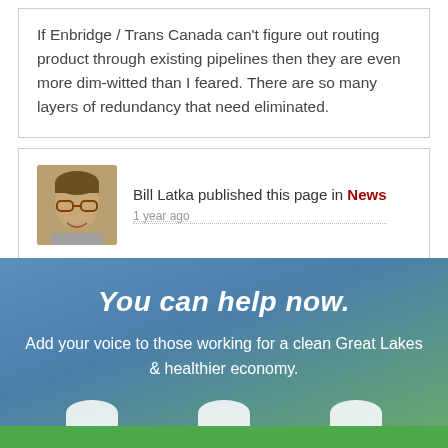If Enbridge / Trans Canada can't figure out routing product through existing pipelines then they are even more dim-witted than I feared. There are so many layers of redundancy that need eliminated.
Bill Latka published this page in News
1 year ago
You can help now.
Add your voice to those working for a clean Great Lakes & healthier economy.